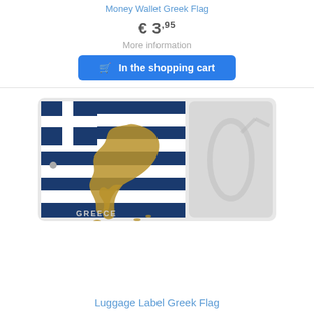Money Wallet Greek Flag
€ 3,95
More information
In the shopping cart
[Figure (photo): A luggage tag/label with a Greek flag design and gold map of Greece, with a clear plastic strap.]
Luggage Label Greek Flag